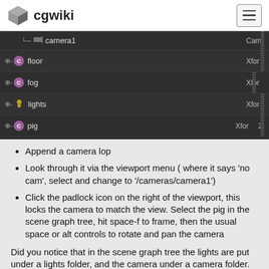cgwiki
[Figure (screenshot): Scene graph tree showing camera1, floor, fog, lights, pig entries with Xfor/Cam type labels]
Append a camera lop
Look through it via the viewport menu ( where it says 'no cam', select and change to '/cameras/camera1')
Click the padlock icon on the right of the viewport, this locks the camera to match the view. Select the pig in the scene graph tree, hit space-f to frame, then the usual space or alt controls to rotate and pan the camera
Did you notice that in the scene graph tree the lights are put under a lights folder, and the camera under a camera folder. Why? Tidyness and convenience. You can see in the camera parameters it's primitive path is set to